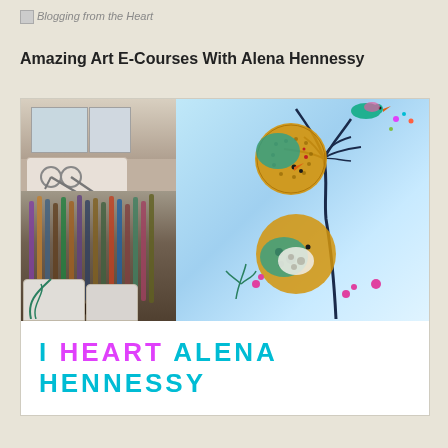Blogging from the Heart
Amazing Art E-Courses With Alena Hennessy
[Figure (photo): Two-panel image: left panel shows art supplies including scissors and paintbrushes; right panel shows colorful mixed-media artwork featuring bird-like figures with textured circular bodies, dark branching stems, and pink flowers on a blue background. Below the images is a white banner with text 'I HEART ALENA HENNESSY' in cyan and magenta colors.]